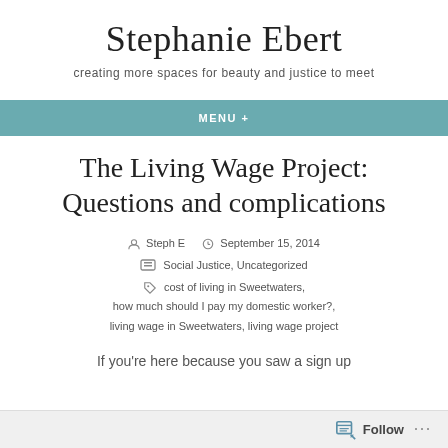Stephanie Ebert
creating more spaces for beauty and justice to meet
MENU +
The Living Wage Project: Questions and complications
Steph E   September 15, 2014
Social Justice, Uncategorized
cost of living in Sweetwaters, how much should I pay my domestic worker?, living wage in Sweetwaters, living wage project
If you're here because you saw a sign up